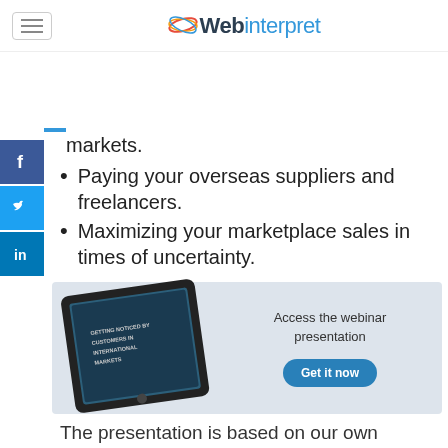Webinterpret
markets.
Paying your overseas suppliers and freelancers.
Maximizing your marketplace sales in times of uncertainty.
[Figure (screenshot): Webinar presentation banner showing a tablet with 'Getting Noticed By Customers In International Markets' slide, with 'Access the webinar presentation' text and a 'Get it now' button]
The presentation is based on our own extensive data and knowledge of our partners,